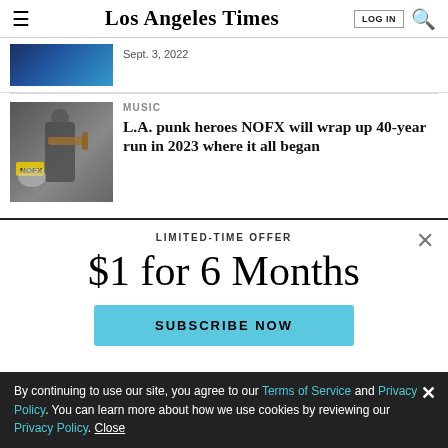Los Angeles Times | LOG IN | Search
Sept. 3, 2022
MUSIC
L.A. punk heroes NOFX will wrap up 40-year run in 2023 where it all began
LIMITED-TIME OFFER
$1 for 6 Months
SUBSCRIBE NOW
By continuing to use our site, you agree to our Terms of Service and Privacy Policy. You can learn more about how we use cookies by reviewing our Privacy Policy. Close